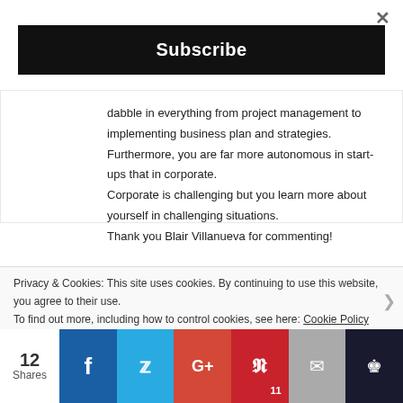×
Subscribe
dabble in everything from project management to implementing business plan and strategies. Furthermore, you are far more autonomous in start-ups that in corporate. Corporate is challenging but you learn more about yourself in challenging situations. Thank you Blair Villanueva for commenting!
Loading...
Log in to Reply
Privacy & Cookies: This site uses cookies. By continuing to use this website, you agree to their use.
To find out more, including how to control cookies, see here: Cookie Policy
12 Shares